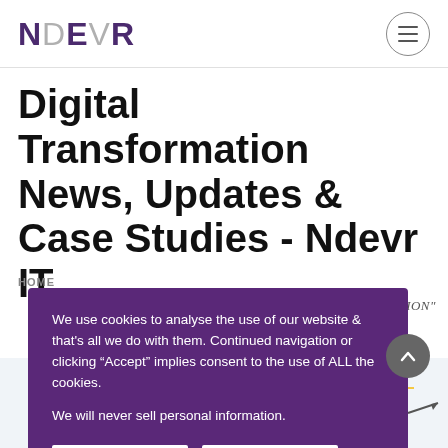NDEVR
Digital Transformation News, Updates & Case Studies - Ndevr IT
HOME
MATION"
We use cookies to analyse the use of our website & that's all we do with them. Continued navigation or clicking “Accept” implies consent to the use of ALL the cookies.

We will never sell personal information.
[Figure (illustration): Partial illustration showing sun, solar panel, and technology diagram elements on a light background at bottom right of page]
[Figure (illustration): Partial illustration at bottom left showing technology/digital transformation content]